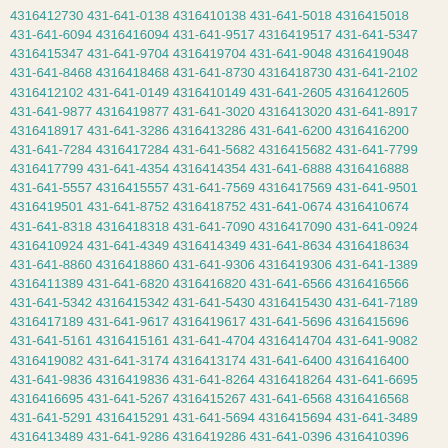4316412730 431-641-0138 4316410138 431-641-5018 4316415018 431-641-6094 4316416094 431-641-9517 4316419517 431-641-5347 4316415347 431-641-9704 4316419704 431-641-9048 4316419048 431-641-8468 4316418468 431-641-8730 4316418730 431-641-2102 4316412102 431-641-0149 4316410149 431-641-2605 4316412605 431-641-9877 4316419877 431-641-3020 4316413020 431-641-8917 4316418917 431-641-3286 4316413286 431-641-6200 4316416200 431-641-7284 4316417284 431-641-5682 4316415682 431-641-7799 4316417799 431-641-4354 4316414354 431-641-6888 4316416888 431-641-5557 4316415557 431-641-7569 4316417569 431-641-9501 4316419501 431-641-8752 4316418752 431-641-0674 4316410674 431-641-8318 4316418318 431-641-7090 4316417090 431-641-0924 4316410924 431-641-4349 4316414349 431-641-8634 4316418634 431-641-8860 4316418860 431-641-9306 4316419306 431-641-1389 4316411389 431-641-6820 4316416820 431-641-6566 4316416566 431-641-5342 4316415342 431-641-5430 4316415430 431-641-7189 4316417189 431-641-9617 4316419617 431-641-5696 4316415696 431-641-5161 4316415161 431-641-4704 4316414704 431-641-9082 4316419082 431-641-3174 4316413174 431-641-6400 4316416400 431-641-9836 4316419836 431-641-8264 4316418264 431-641-6695 4316416695 431-641-5267 4316415267 431-641-6568 4316416568 431-641-5291 4316415291 431-641-5694 4316415694 431-641-3489 4316413489 431-641-9286 4316419286 431-641-0396 4316410396 431-641-5144 4316415144 431-641-2471 4316412471 431-641-4551 4316414551 431-641-4697 4316414697 431-641-4384 4316414384 431-641-6280 4316416280 431-641-0269 4316410269 431-641-7260 4316417260 431-641-5445 4316415445 431-641-6196 4316416196 431-